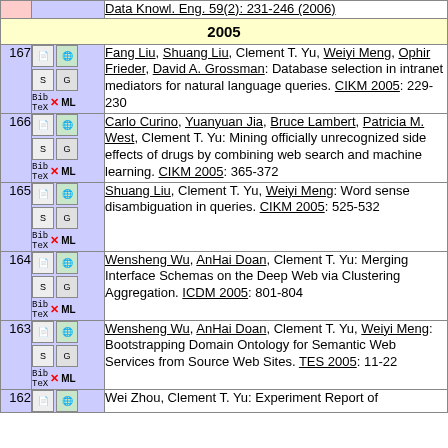Data Knowl. Eng. 59(2): 231-246 (2006)
2005
167. Fang Liu, Shuang Liu, Clement T. Yu, Weiyi Meng, Ophir Frieder, David A. Grossman: Database selection in intranet mediators for natural language queries. CIKM 2005: 229-230
166. Carlo Curino, Yuanyuan Jia, Bruce Lambert, Patricia M. West, Clement T. Yu: Mining officially unrecognized side effects of drugs by combining web search and machine learning. CIKM 2005: 365-372
165. Shuang Liu, Clement T. Yu, Weiyi Meng: Word sense disambiguation in queries. CIKM 2005: 525-532
164. Wensheng Wu, AnHai Doan, Clement T. Yu: Merging Interface Schemas on the Deep Web via Clustering Aggregation. ICDM 2005: 801-804
163. Wensheng Wu, AnHai Doan, Clement T. Yu, Weiyi Meng: Bootstrapping Domain Ontology for Semantic Web Services from Source Web Sites. TES 2005: 11-22
162. Wei Zhou, Clement T. Yu: Experiment Report of